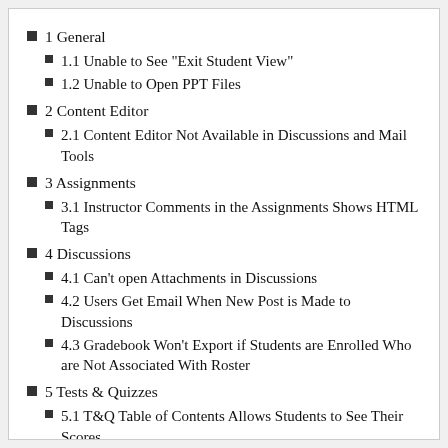1 General
1.1 Unable to See "Exit Student View"
1.2 Unable to Open PPT Files
2 Content Editor
2.1 Content Editor Not Available in Discussions and Mail Tools
3 Assignments
3.1 Instructor Comments in the Assignments Shows HTML Tags
4 Discussions
4.1 Can't open Attachments in Discussions
4.2 Users Get Email When New Post is Made to Discussions
4.3 Gradebook Won't Export if Students are Enrolled Who are Not Associated With Roster
5 Tests & Quizzes
5.1 T&Q Table of Contents Allows Students to See Their Scores
5.2 "Import" Function in Tests & Quizzes can Corrupt Username
6 Turning Point
6.1 TurningPoint Roster Does Not Export to Sakai